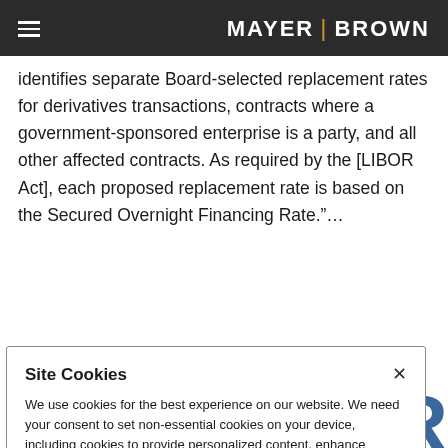MAYER | BROWN
identifies separate Board-selected replacement rates for derivatives transactions, contracts where a government-sponsored enterprise is a party, and all other affected contracts. As required by the [LIBOR Act], each proposed replacement rate is based on the Secured Overnight Financing Rate."...
Continue Reading
Site Cookies
We use cookies for the best experience on our website. We need your consent to set non-essential cookies on your device, including cookies to provide personalized content, enhance functionality and analyze traffic with our analytics partner. Please select one of the options shown. Cookie Policy